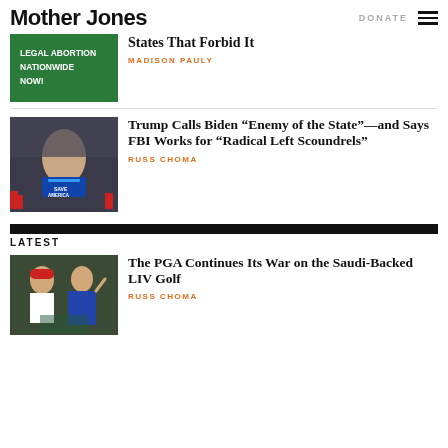Mother Jones | DONATE
[Figure (photo): Protest sign reading LEGAL ABORTION NATIONWIDE NOW! on green background]
States That Forbid It
MADISON PAULY
[Figure (photo): Trump speaking at Save America rally with crowd in background]
Trump Calls Biden “Enemy of the State”—and Says FBI Works for “Radical Left Scoundrels”
RUSS CHOMA
LATEST
[Figure (photo): Man in red MAGA hat and woman waving, at golf event]
The PGA Continues Its War on the Saudi-Backed LIV Golf
RUSS CHOMA